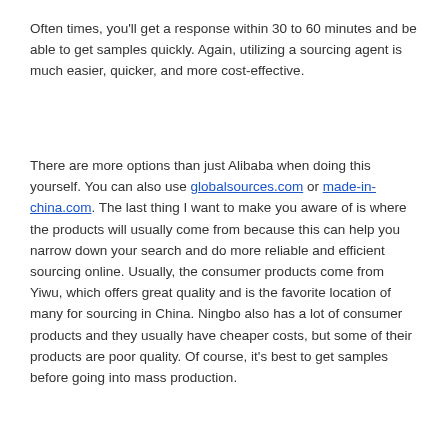Often times, you'll get a response within 30 to 60 minutes and be able to get samples quickly. Again, utilizing a sourcing agent is much easier, quicker, and more cost-effective.
There are more options than just Alibaba when doing this yourself. You can also use globalsources.com or made-in-china.com. The last thing I want to make you aware of is where the products will usually come from because this can help you narrow down your search and do more reliable and efficient sourcing online. Usually, the consumer products come from Yiwu, which offers great quality and is the favorite location of many for sourcing in China. Ningbo also has a lot of consumer products and they usually have cheaper costs, but some of their products are poor quality. Of course, it's best to get samples before going into mass production.